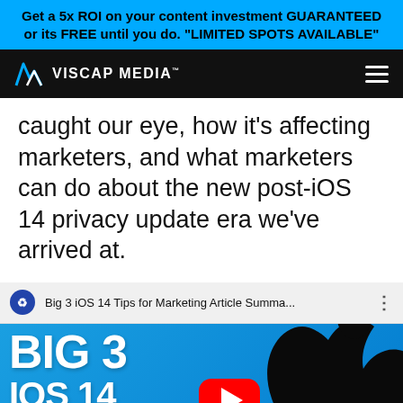Get a 5x ROI on your content investment GUARANTEED or its FREE until you do. "LIMITED SPOTS AVAILABLE"
[Figure (logo): Viscap Media logo with navigation bar on dark background]
caught our eye, how it's affecting marketers, and what marketers can do about the new post-iOS 14 privacy update era we've arrived at.
[Figure (screenshot): YouTube video embed: Big 3 iOS 14 Tips for Marketing Article Summa... showing blue thumbnail with BIG 3, iOS 14, TIPS FOR, MKTG text, YouTube play button, and Apple logo silhouette]